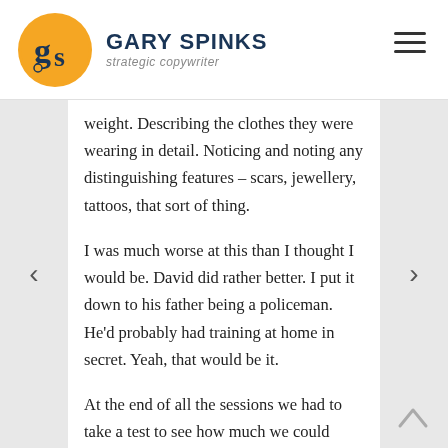GARY SPINKS strategic copywriter
weight. Describing the clothes they were wearing in detail. Noticing and noting any distinguishing features – scars, jewellery, tattoos, that sort of thing.
I was much worse at this than I thought I would be. David did rather better. I put it down to his father being a policeman. He'd probably had training at home in secret. Yeah, that would be it.
At the end of all the sessions we had to take a test to see how much we could remember. If I recall correctly, I wasn't able to make the group test session so I had to take the “exam” seated in a room in the police station on my own.